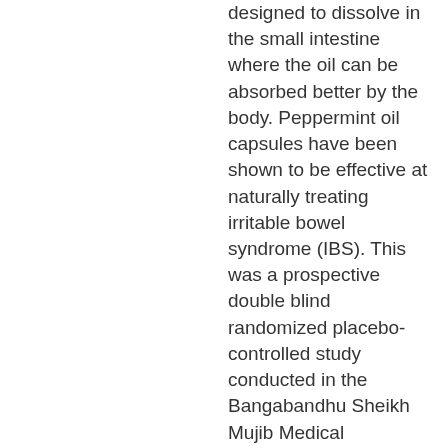designed to dissolve in the small intestine where the oil can be absorbed better by the body. Peppermint oil capsules have been shown to be effective at naturally treating irritable bowel syndrome (IBS). This was a prospective double blind randomized placebo-controlled study conducted in the Bangabandhu Sheikh Mujib Medical University during July 2008 to September 2009. Heather's Tummy Tamers Peppermint Oil Capsules are a medical food for the